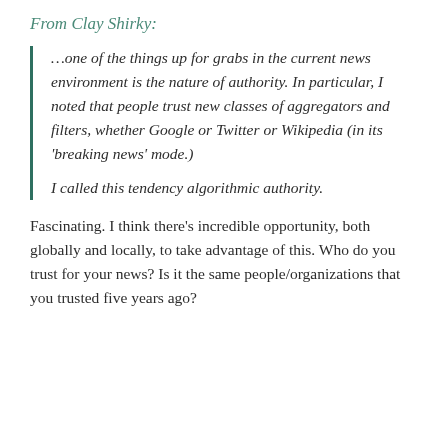From Clay Shirky:
…one of the things up for grabs in the current news environment is the nature of authority. In particular, I noted that people trust new classes of aggregators and filters, whether Google or Twitter or Wikipedia (in its 'breaking news' mode.) I called this tendency algorithmic authority.
Fascinating. I think there's incredible opportunity, both globally and locally, to take advantage of this. Who do you trust for your news? Is it the same people/organizations that you trusted five years ago?